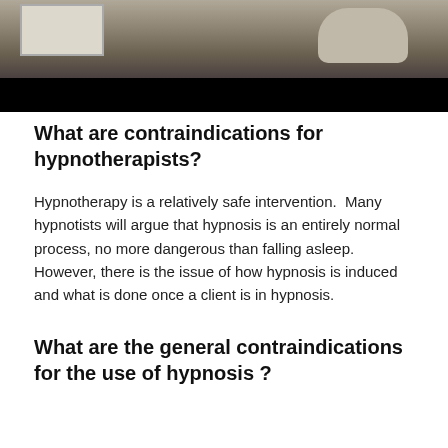[Figure (photo): A person standing near a whiteboard, photo partially cut off with a dark black bar across the bottom portion of the image.]
What are contraindications for hypnotherapists?
Hypnotherapy is a relatively safe intervention.  Many hypnotists will argue that hypnosis is an entirely normal process, no more dangerous than falling asleep. However, there is the issue of how hypnosis is induced and what is done once a client is in hypnosis.
What are the general contraindications for the use of hypnosis ?